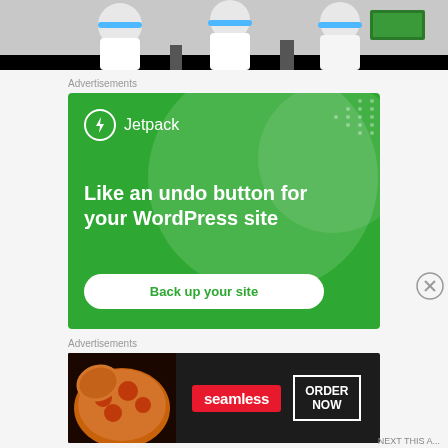[Figure (photo): People in white uniforms with blue trim working in a kitchen or lab setting, dark background at bottom]
Advertisements
[Figure (illustration): Jetpack advertisement on green background. Logo with lightning bolt icon and 'Jetpack' text. Tagline: 'Like an undo button for your WordPress site'. Button: 'Back up your site']
Advertisements
[Figure (illustration): Seamless food delivery advertisement. Pizza image on left, red Seamless logo, 'ORDER NOW' button in white border box on dark background]